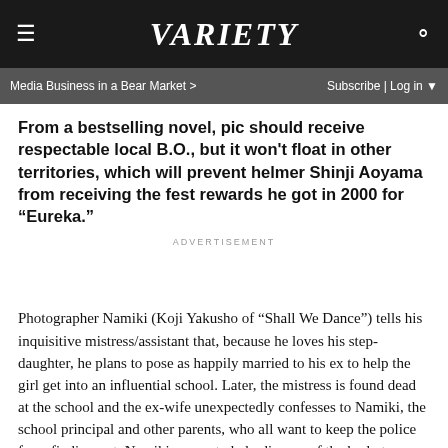VARIETY — Media Business in a Bear Market > | Subscribe | Log in
From a bestselling novel, pic should receive respectable local B.O., but it won't float in other territories, which will prevent helmer Shinji Aoyama from receiving the fest rewards he got in 2000 for “Eureka.”
ADVERTISEMENT
Photographer Namiki (Koji Yakusho of “Shall We Dance”) tells his inquisitive mistress/assistant that, because he loves his step-daughter, he plans to pose as happily married to his ex to help the girl get into an influential school. Later, the mistress is found dead at the school and the ex-wife unexpectedly confesses to Namiki, the school principal and other parents, who all want to keep the police from finding out. Namiki agrees to help dispose of the body to save the school from shame.